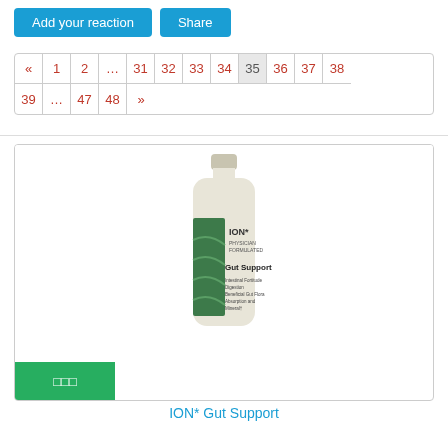[Figure (screenshot): Two blue buttons: 'Add your reaction' and 'Share']
[Figure (screenshot): Pagination control with page numbers: «, 1, 2, ..., 31, 32, 33, 34, 35 (active), 36, 37, 38, 39, ..., 47, 48, »]
[Figure (photo): ION* Gut Support product bottle with green label]
ION* Gut Support